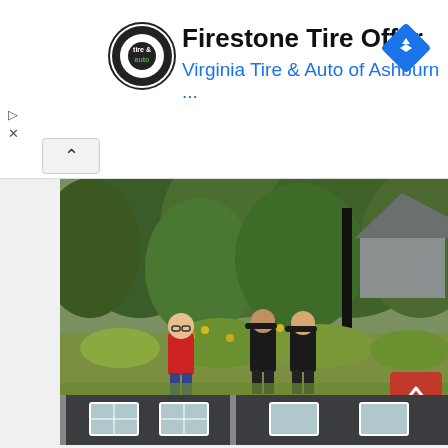[Figure (other): Ad banner: Firestone Tire Offer — Virginia Tire & Auto of Ashburn logo and navigation icon]
Firestone Tire Offer
Virginia Tire & Auto of Ashburn ...
[Figure (photo): Three people (one in red shirt, two in black police uniforms) walking through tall grass and wildflowers in front of dense green trees and a house]
Missing child found safe after search Monday in Bloomington, Indiana
[Figure (photo): Bottom strip showing exterior of a dark-sided house with white-framed windows]